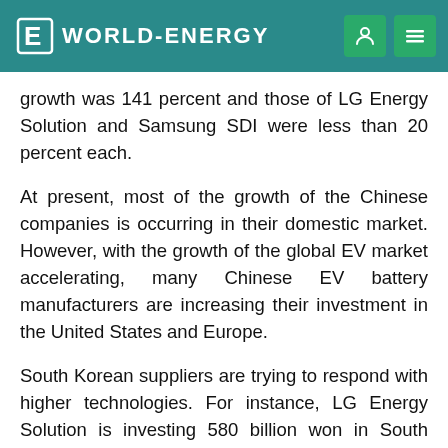WORLD-ENERGY
growth was 141 percent and those of LG Energy Solution and Samsung SDI were less than 20 percent each.
At present, most of the growth of the Chinese companies is occurring in their domestic market. However, with the growth of the global EV market accelerating, many Chinese EV battery manufacturers are increasing their investment in the United States and Europe.
South Korean suppliers are trying to respond with higher technologies. For instance, LG Energy Solution is investing 580 billion won in South Korea in order to mass-produce 4680 batteries, which are five and six times higher in energy density and output than 2170 batteries, respectively.
SK On is working closely with POSCO Holdings in every